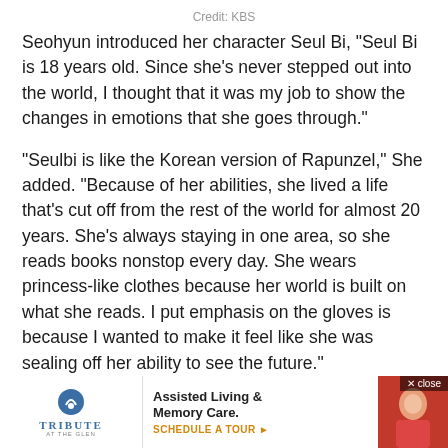Credit: KBS
Seohyun introduced her character Seul Bi, “Seul Bi is 18 years old. Since she’s never stepped out into the world, I thought that it was my job to show the changes in emotions that she goes through.”
“Seulbi is like the Korean version of Rapunzel,” She added. “Because of her abilities, she lived a life that’s cut off from the rest of the world for almost 20 years. She’s always staying in one area, so she reads books nonstop every day. She wears princess-like clothes because her world is built on what she reads. I put emphasis on the gloves is because I wanted to make it feel like she was sealing off her ability to see the future.”
[Figure (other): Advertisement banner for Tribute at the Glen Assisted Living & Memory Care with logo, text, and photo]